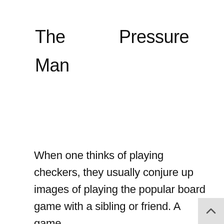The Pressure Man
When one thinks of playing checkers, they usually conjure up images of playing the popular board game with a sibling or friend. A game